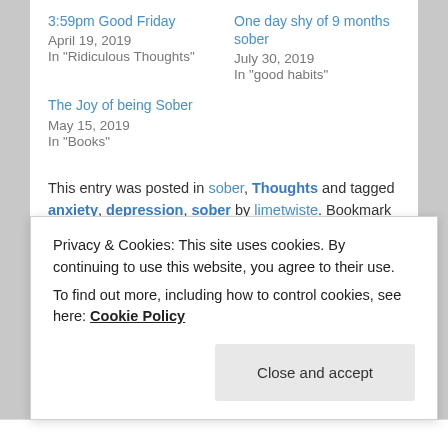3:59pm Good Friday
April 19, 2019
In "Ridiculous Thoughts"
One day shy of 9 months sober
July 30, 2019
In "good habits"
The Joy of being Sober
May 15, 2019
In "Books"
This entry was posted in sober, Thoughts and tagged anxiety, depression, sober by limetwiste. Bookmark the permalink.
59 THOUGHTS ON "NO JOY"
Privacy & Cookies: This site uses cookies. By continuing to use this website, you agree to their use.
To find out more, including how to control cookies, see here: Cookie Policy
Close and accept